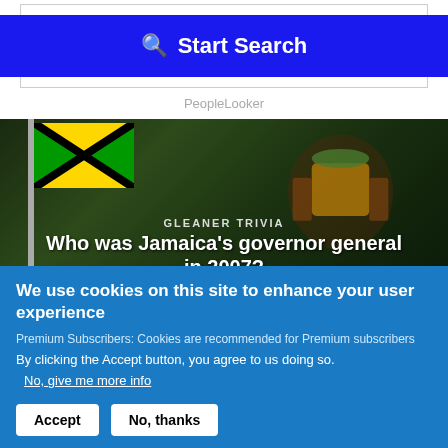[Figure (screenshot): Blue 'Start Search' button with magnifying glass icon]
PeopleLooker
[Figure (photo): Gleaner Trivia banner with Jamaican flag and coat of arms. Text: 'GLEANER TRIVIA' and 'Who was Jamaica's governor general in 2007?']
We use cookies on this site to enhance your user experience
Premium Subscribers: Cookies are recommended for Premium subscribers
By clicking the Accept button, you agree to us doing so.
No, give me more info
Accept
No, thanks